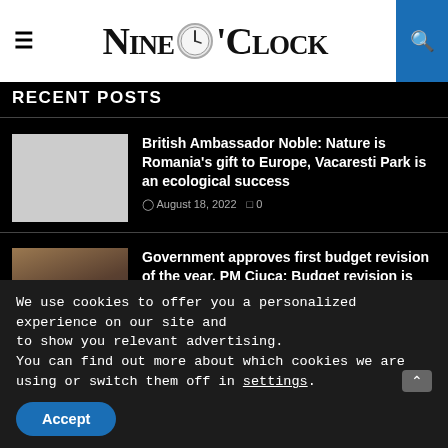Nine O'Clock
RECENT POSTS
[Figure (photo): Blank/white thumbnail image placeholder for British Ambassador article]
British Ambassador Noble: Nature is Romania's gift to Europe, Vacaresti Park is an ecological success
August 18, 2022  0
[Figure (photo): Photo of PM Ciuca at press conference with Romanian flag in background]
Government approves first budget revision of the year. PM Ciuca: Budget revision is positive and backed by an increase in...
August 18, 2022  0
We use cookies to offer you a personalized  experience on our site and
to show you relevant advertising.
You can find out more about which cookies we are using or switch them off in settings.
Accept